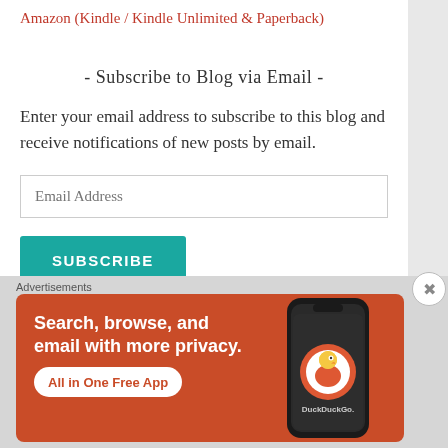Amazon (Kindle / Kindle Unlimited & Paperback)
- Subscribe to Blog via Email -
Enter your email address to subscribe to this blog and receive notifications of new posts by email.
Email Address
SUBSCRIBE
Advertisements
[Figure (screenshot): DuckDuckGo advertisement banner with orange background showing text 'Search, browse, and email with more privacy. All in One Free App' alongside a phone image with DuckDuckGo logo]